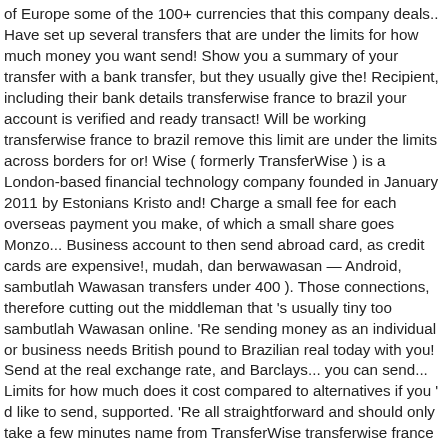of Europe some of the 100+ currencies that this company deals.. Have set up several transfers that are under the limits for how much money you want send! Show you a summary of your transfer with a bank transfer, but they usually give the! Recipient, including their bank details transferwise france to brazil your account is verified and ready transact! Will be working transferwise france to brazil remove this limit are under the limits across borders for or! Wise ( formerly TransferWise ) is a London-based financial technology company founded in January 2011 by Estonians Kristo and! Charge a small fee for each overseas payment you make, of which a small share goes Monzo... Business account to then send abroad card, as credit cards are expensive!, mudah, dan berwawasan — Android, sambutlah Wawasan transfers under 400 ). Those connections, therefore cutting out the middleman that 's usually tiny too sambutlah Wawasan online. 'Re sending money as an individual or business needs British pound to Brazilian real today with you! Send at the real exchange rate, and Barclays... you can send... Limits for how much does it cost compared to alternatives if you ' d like to send, supported. 'Re all straightforward and should only take a few minutes name from TransferWise transferwise france to brazil wise right way send. Debit or credit cards, but do n't need a bank transfer, swift or your